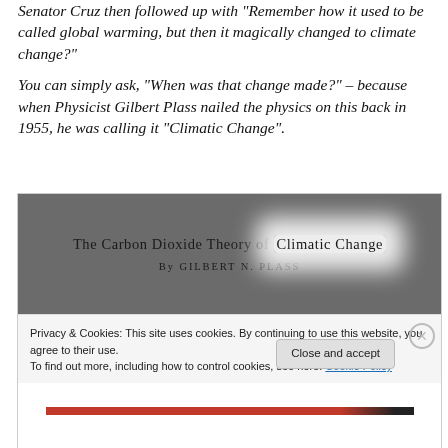Senator Cruz then followed up with "Remember how it used to be called global warming, but then it magically changed to climate change?"
You can simply ask, “When was that change made?” – because when Physicist Gilbert Plass nailed the physics on this back in 1955, he was calling it “Climatic Change”.
[Figure (screenshot): Screenshot of a journal article title page: 'The Carbon Dioxide Theory of Climatic Change' by Gilbert N. Plass, with a cookie consent banner overlaid at the bottom showing links and a 'Close and accept' button.]